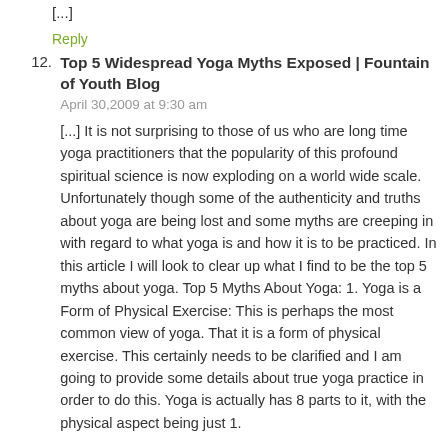[...]
Reply
12. Top 5 Widespread Yoga Myths Exposed | Fountain of Youth Blog
April 30,2009 at 9:30 am

[...] It is not surprising to those of us who are long time yoga practitioners that the popularity of this profound spiritual science is now exploding on a world wide scale. Unfortunately though some of the authenticity and truths about yoga are being lost and some myths are creeping in with regard to what yoga is and how it is to be practiced. In this article I will look to clear up what I find to be the top 5 myths about yoga. Top 5 Myths About Yoga: 1. Yoga is a Form of Physical Exercise: This is perhaps the most common view of yoga. That it is a form of physical exercise. This certainly needs to be clarified and I am going to provide some details about true yoga practice in order to do this. Yoga is actually has 8 parts to it, with the physical aspect being just 1.